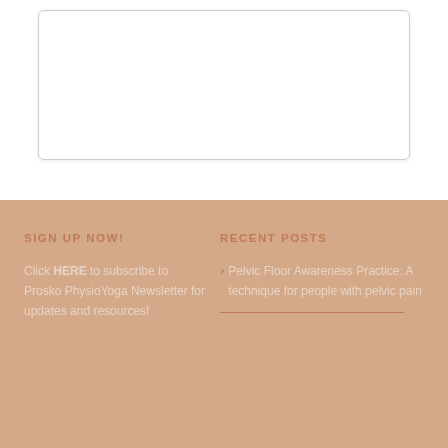[Figure (other): White rounded rectangle box at the top of the page]
SIGN UP NOW!
Click HERE to subscribe to Prosko PhysioYoga Newsletter for updates and resources!
RECENT POSTS
Pelvic Floor Awareness Practice: A technique for people with pelvic pain